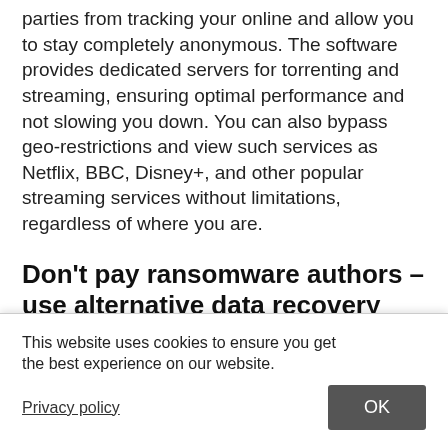parties from tracking your online and allow you to stay completely anonymous. The software provides dedicated servers for torrenting and streaming, ensuring optimal performance and not slowing you down. You can also bypass geo-restrictions and view such services as Netflix, BBC, Disney+, and other popular streaming services without limitations, regardless of where you are.
Don't pay ransomware authors – use alternative data recovery options
Malware attacks, particularly ransomware, are by far the biggest danger to your pictures, videos, work, or school files. Since cybercriminals use a robust encryption algorithm ... ransom in ... ou should first try ... uld help you to
This website uses cookies to ensure you get the best experience on our website.
Privacy policy